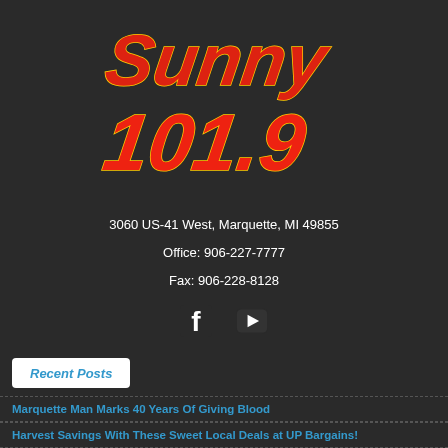[Figure (logo): Sunny 101.9 radio station logo with stylized text in red and yellow on dark background]
3060 US-41 West, Marquette, MI 49855
Office: 906-227-7777
Fax: 906-228-8128
[Figure (illustration): Facebook and YouTube social media icons]
Recent Posts
Marquette Man Marks 40 Years Of Giving Blood
Harvest Savings With These Sweet Local Deals at UP Bargains!